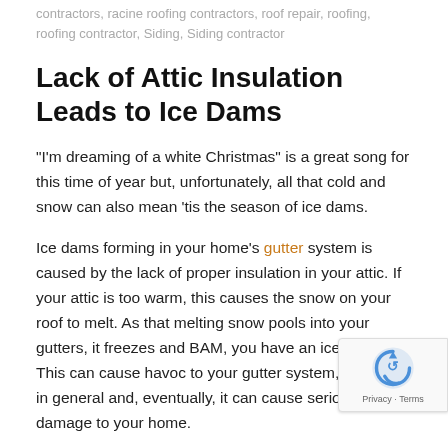contractors, racine roofing contractors, roof repair, roofing, roofing contractor, Siding, Siding contractor
Lack of Attic Insulation Leads to Ice Dams
“I’m dreaming of a white Christmas” is a great song for this time of year but, unfortunately, all that cold and snow can also mean ‘tis the season of ice dams.
Ice dams forming in your home’s gutter system is caused by the lack of proper insulation in your attic.  If your attic is too warm, this causes the snow on your roof to melt. As that melting snow pools into your gutters, it freezes and BAM, you have an ice dam.  This can cause havoc to your gutter system, your roof in general and, eventually, it can cause serious water damage to your home.
A great rule of thumb, when it comes to your attic, is “if it’s too